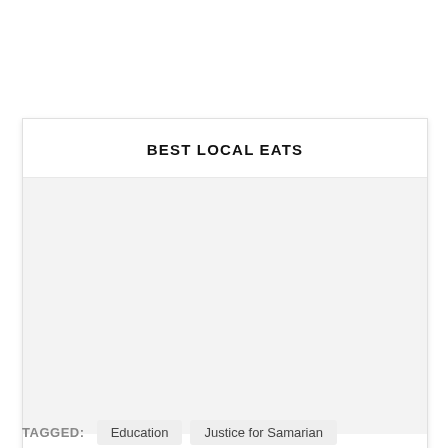BEST LOCAL EATS
[Figure (other): Light gray placeholder content area below the title card header]
TAGGED:
Education
Justice for Samarian